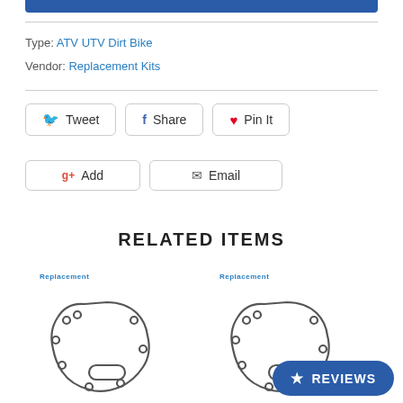Type: ATV UTV Dirt Bike
Vendor: Replacement Kits
[Figure (screenshot): Social sharing buttons: Tweet (Twitter), Share (Facebook), Pin It (Pinterest), Add (Google+), Email]
RELATED ITEMS
[Figure (photo): Engine gasket product image with Replacement Kits logo]
[Figure (photo): Engine gasket product image with Replacement Kits logo (second variant)]